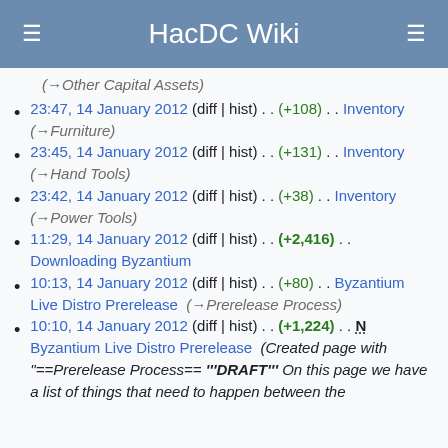HacDC Wiki
(→Other Capital Assets)
23:47, 14 January 2012 (diff | hist) . . (+108) . . Inventory (→Furniture)
23:45, 14 January 2012 (diff | hist) . . (+131) . . Inventory (→Hand Tools)
23:42, 14 January 2012 (diff | hist) . . (+38) . . Inventory (→Power Tools)
11:29, 14 January 2012 (diff | hist) . . (+2,416) . . Downloading Byzantium
10:13, 14 January 2012 (diff | hist) . . (+80) . . Byzantium Live Distro Prerelease (→Prerelease Process)
10:10, 14 January 2012 (diff | hist) . . (+1,224) . . N Byzantium Live Distro Prerelease (Created page with "==Prerelease Process== '''DRAFT''' On this page we have a list of things that need to happen between the